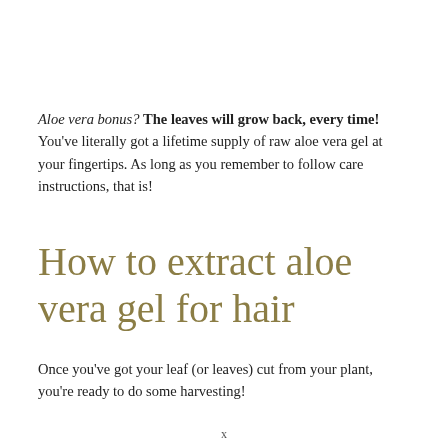Aloe vera bonus? The leaves will grow back, every time! You've literally got a lifetime supply of raw aloe vera gel at your fingertips. As long as you remember to follow care instructions, that is!
How to extract aloe vera gel for hair
Once you've got your leaf (or leaves) cut from your plant, you're ready to do some harvesting!
x